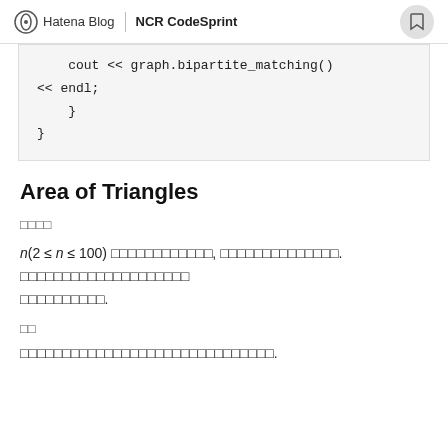Hatena Blog | NCR CodeSprint
cout << graph.bipartite_matching()
<< endl;
    }
}
Area of Triangles
□□□□
n(2 ≤ n ≤ 100) □□□□□□□□□□□□, □□□□□□□□□□□□□□. □□□□□□□□□□□□□□□□□□□□□□□□□□.
□□
□□□□□□□□□□□□□□□□□□□□□□□□□□□□□□.